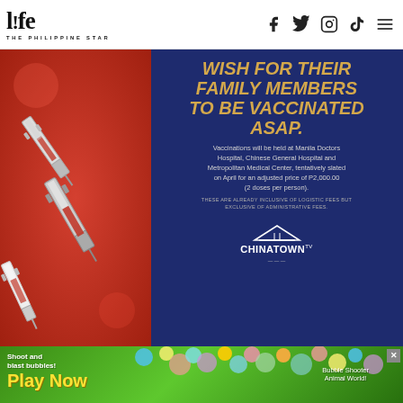life THE PHILIPPINE STAR — navigation icons: Facebook, Twitter, Instagram, TikTok, Menu
[Figure (infographic): Vaccination promotional infographic from Chinatown TV. Left half shows syringes on red background. Right half has dark blue background with text: 'WISH FOR THEIR FAMILY MEMBERS TO BE VACCINATED ASAP.' followed by details about vaccinations at Manila Doctors Hospital, Chinese General Hospital and Metropolitan Medical Center, tentatively slated on April for an adjusted price of P2,000.00 (2 doses per person). Note: THESE ARE ALREADY INCLUSIVE OF LOGISTIC FEES BUT EXCLUSIVE OF ADMINISTRATIVE FEES. Chinatown TV logo at bottom.]
[Figure (infographic): Advertisement banner: green background with colorful bubbles and cartoon bear character. Text: 'Shoot and blast bubbles! Play Now' and 'Bubble Shooter Animal World!' game advertisement with X close button.]